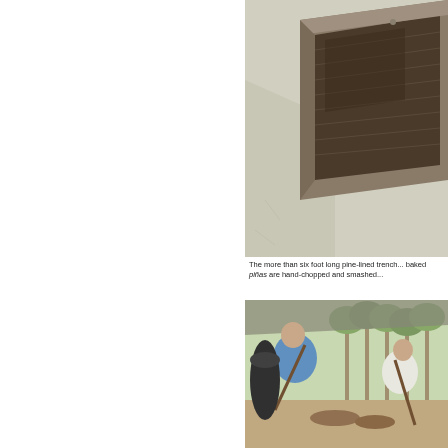[Figure (photo): A pine-lined trench or fermentation vessel photographed from above at an angle, showing a rectangular wooden box lined with fibrous material, sitting on a concrete surface.]
The more than six foot long pine-lined trench... baked piñas are hand-chopped and smashed...
[Figure (photo): Two workers in an open-air structure manually chopping and smashing baked piñas on the ground, surrounded by trees in the background.]